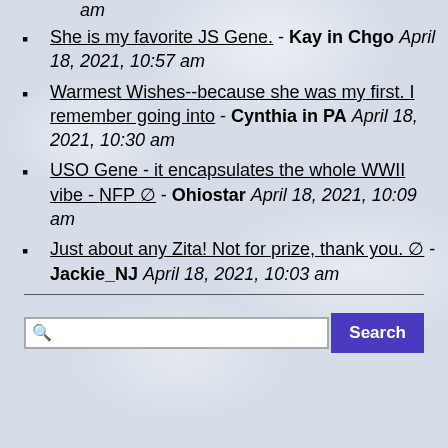am
She is my favorite JS Gene. - Kay in Chgo April 18, 2021, 10:57 am
Warmest Wishes--because she was my first. I remember going into - Cynthia in PA April 18, 2021, 10:30 am
USO Gene - it encapsulates the whole WWII vibe - NFP ∅ - Ohiostar April 18, 2021, 10:09 am
Just about any Zita! Not for prize, thank you. ∅ - Jackie_NJ April 18, 2021, 10:03 am